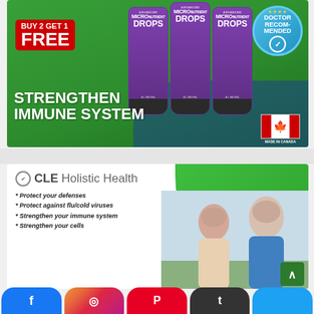[Figure (advertisement): Green background ad for Advanced Micro Nutrient Drops supplement. Shows three purple product bottles. Red box says 'BUY 2 GET 1 FREE'. Blue badge says 'DOCTOR RECOMMENDED' with stars. Text reads 'STRENGTHEN IMMUNE SYSTEM'. Canadian flag with 'MADE IN CANADA'.]
[Figure (advertisement): CLE Holistic Health ad with green arc design and photo of smiling elderly couple outdoors. Logo reads 'CLE Holistic Health'. Bullet points: '* Protect your defenses', '* Protect against flu/cold viruses', '* Strengthen your immune system', '* Strengthen your cells'.]
[Figure (infographic): Social media share bar at bottom with Facebook, Instagram, Pinterest, Tumblr, and Twitter buttons.]